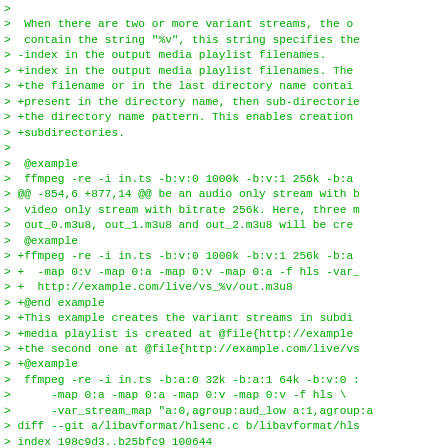> 
>  When there are two or more variant streams, the o
>  contain the string "%v", this string specifies the
> -index in the output media playlist filenames.
> +index in the output media playlist filenames. The
> +the filename or in the last directory name contai
> +present in the directory name, then sub-directorie
> +the directory name pattern. This enables creation
> +subdirectories.
> 
>  @example
>  ffmpeg -re -i in.ts -b:v:0 1000k -b:v:1 256k -b:a
> @@ -854,6 +877,14 @@ be an audio only stream with b
>  video only stream with bitrate 256k. Here, three m
>  out_0.m3u8, out_1.m3u8 and out_2.m3u8 will be cre
>  @example
> +ffmpeg -re -i in.ts -b:v:0 1000k -b:v:1 256k -b:a
> +  -map 0:v -map 0:a -map 0:v -map 0:a -f hls -var_
> +  http://example.com/live/vs_%v/out.m3u8
> +@end example
> +This example creates the variant streams in subdi
> +media playlist is created at @file{http://example
> +the second one at @file{http://example.com/live/vs
> +@example
>  ffmpeg -re -i in.ts -b:a:0 32k -b:a:1 64k -b:v:0 :
>      -map 0:a -map 0:a -map 0:v -map 0:v -f hls \
>      -var_stream_map "a:0,agroup:aud_low a:1,agroup:a
> diff --git a/libavformat/hlsenc.c b/libavformat/hls
> index 198c9d3..b25bfc9 100644
> --- a/libavformat/hlsenc.c
> +++ b/libavformat/hlsenc.c
> @@ -1557,7 +1557,8 @@ static int append_postfix(ch